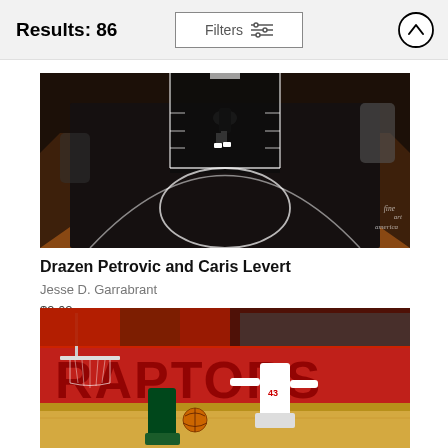Results: 86
Filters
[Figure (photo): Overhead view of a basketball court with players, on a dark/black court surface with white lines and the Nets logo area visible. Watermark: fine art america]
Drazen Petrovic and Caris Levert
Jesse D. Garrabrant
$9.62
[Figure (photo): Basketball game photo showing a Raptors player (number 43) defending near the basket against a Bucks player, with red Raptors court branding visible and fans in background]